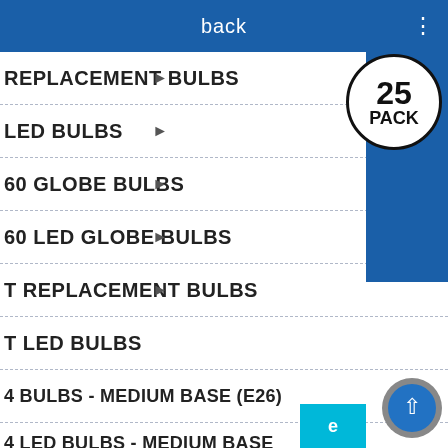back
REPLACEMENT BULBS
LED BULBS
60 GLOBE BULBS
60 LED GLOBE BULBS
T REPLACEMENT BULBS
T LED BULBS
4 BULBS - MEDIUM BASE (E26)
4 LED BULBS - MEDIUM BASE (E26)
[Figure (other): 25 PACK badge - circular black border with text 25 PACK inside]